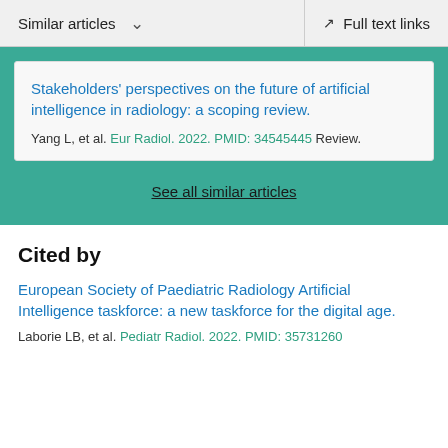Similar articles   ∨   Full text links
Stakeholders' perspectives on the future of artificial intelligence in radiology: a scoping review.
Yang L, et al. Eur Radiol. 2022. PMID: 34545445 Review.
See all similar articles
Cited by
European Society of Paediatric Radiology Artificial Intelligence taskforce: a new taskforce for the digital age.
Laborie LB, et al. Pediatr Radiol. 2022. PMID: 35731260